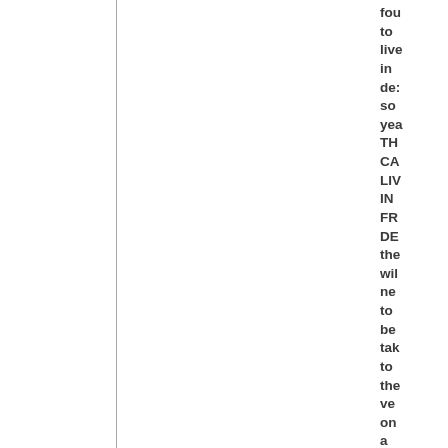fou to live in de: so yea THE CA LIV IN FR DE the will ne to be tak to the ve on a mo